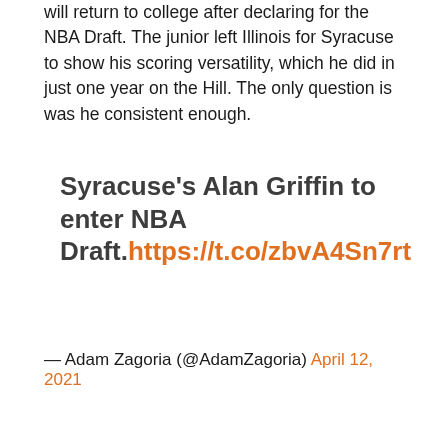will return to college after declaring for the NBA Draft. The junior left Illinois for Syracuse to show his scoring versatility, which he did in just one year on the Hill. The only question is was he consistent enough.
Syracuse's Alan Griffin to enter NBA Draft.https://t.co/zbvA4Sn7rt
— Adam Zagoria (@AdamZagoria) April 12, 2021